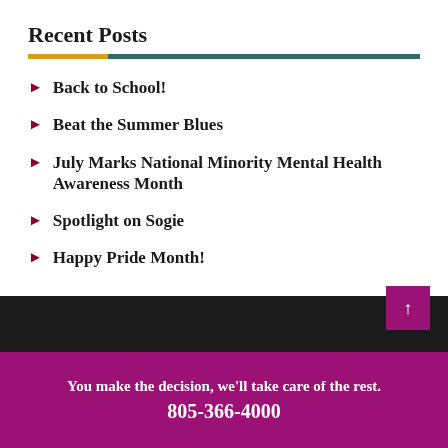Recent Posts
Back to School!
Beat the Summer Blues
July Marks National Minority Mental Health Awareness Month
Spotlight on Sogie
Happy Pride Month!
You make the decision, we'll take care of the rest. 805-366-4000